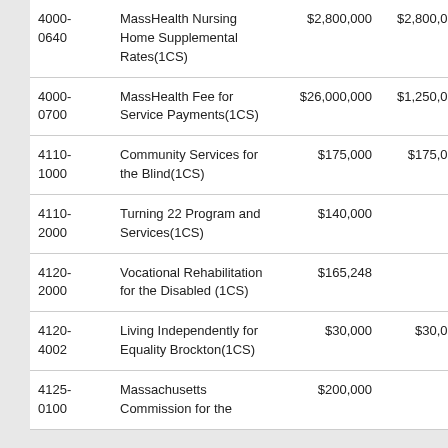| Account | Description | Col3 | Col4 | Col5 |
| --- | --- | --- | --- | --- |
| 4000-0640 | MassHealth Nursing Home Supplemental Rates(1CS) | $2,800,000 | $2,800,000 |  |
| 4000-0700 | MassHealth Fee for Service Payments(1CS) | $26,000,000 | $1,250,000 | $24… |
| 4110-1000 | Community Services for the Blind(1CS) | $175,000 | $175,000 |  |
| 4110-2000 | Turning 22 Program and Services(1CS) | $140,000 | — | $… |
| 4120-2000 | Vocational Rehabilitation for the Disabled (1CS) | $165,248 | — | $… |
| 4120-4002 | Living Independently for Equality Brockton(1CS) | $30,000 | $30,000 |  |
| 4125-0100 | Massachusetts Commission for the | $200,000 | — | $… |